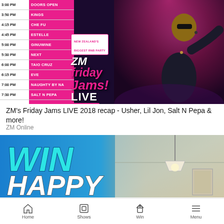[Figure (photo): ZM Friday Jams LIVE 2018 event schedule showing times and performers alongside a performer on stage. Schedule includes: 3:00 PM DOORS OPEN, 3:50 PM KINGS, 4:15 PM CHE FU, 4:45 PM ESTELLE, 5:00 PM GINUWINE, 5:30 PM NEXT, 6:00 PM TAIO CRUZ, 6:15 PM EVE, 7:00 PM NAUGHTY BY NA[TURE], 7:30 PM SALT N PEPA, 8:30 PM USHER & LIL JON. New Zealand's biggest RNB party logo and performer photo.]
ZM's Friday Jams LIVE 2018 recap - Usher, Lil Jon, Salt N Pepa & more!
ZM Online
[Figure (photo): WIN HAPPY promotional banner with teal and white text on a blue gradient background, with a room interior showing a lamp on the right side.]
LIVE Listen on iHeartRadio
SNAKEHIPS FEAT M0 - DON'T LEAVE
Home  Shows  Win  Menu